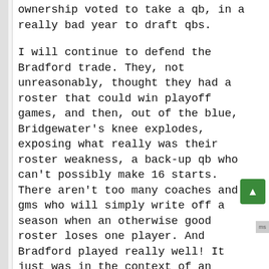ownership voted to take a qb, in a really bad year to draft qbs.

I will continue to defend the Bradford trade. They, not unreasonably, thought they had a roster that could win playoff games, and then, out of the blue, Bridgewater's knee explodes, exposing what really was their roster weakness, a back-up qb who can't possibly make 16 starts. There aren't too many coaches and gms who will simply write off a season when an otherwise good roster loses one player. And Bradford played really well! It just was in the context of an injury tsunami on the offensive line that was nearly unprecedented in league history. Then Bradford plays great in the 2017 opener against the Saints, but the knee